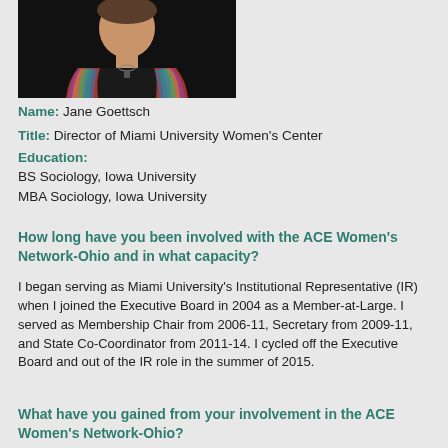[Figure (photo): Portrait photo of Jane Goettsch wearing a colorful patterned scarf/stole and a necklace, dark background]
Name: Jane Goettsch
Title: Director of Miami University Women's Center
Education:
BS Sociology, Iowa University
MBA Sociology, Iowa University
How long have you been involved with the ACE Women's Network-Ohio and in what capacity?
I began serving as Miami University's Institutional Representative (IR) when I joined the Executive Board in 2004 as a Member-at-Large. I served as Membership Chair from 2006-11, Secretary from 2009-11, and State Co-Coordinator from 2011-14. I cycled off the Executive Board and out of the IR role in the summer of 2015.
What have you gained from your involvement in the ACE Women's Network-Ohio?